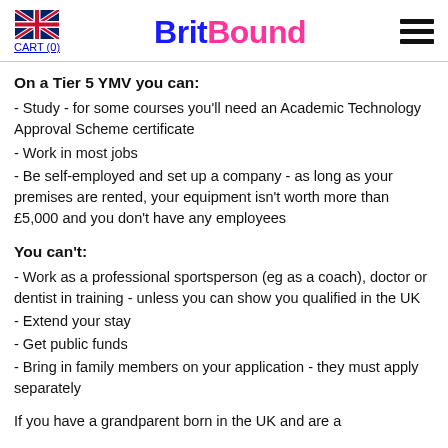BritBound — CART (0)
On a Tier 5 YMV you can:
- Study - for some courses you'll need an Academic Technology Approval Scheme certificate
- Work in most jobs
- Be self-employed and set up a company - as long as your premises are rented, your equipment isn't worth more than £5,000 and you don't have any employees
You can't:
- Work as a professional sportsperson (eg as a coach), doctor or dentist in training - unless you can show you qualified in the UK
- Extend your stay
- Get public funds
- Bring in family members on your application - they must apply separately
If you have a grandparent born in the UK and are a